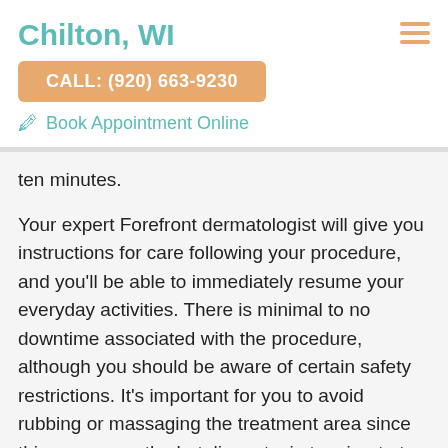Chilton, WI
CALL: (920) 663-9230
Book Appointment Online
ten minutes.
Your expert Forefront dermatologist will give you instructions for care following your procedure, and you’ll be able to immediately resume your everyday activities. There is minimal to no downtime associated with the procedure, although you should be aware of certain safety restrictions. It’s important for you to avoid rubbing or massaging the treatment area since this can cause the botulinum toxin to migrate to other areas of the face.
What Are the Treatment Areas